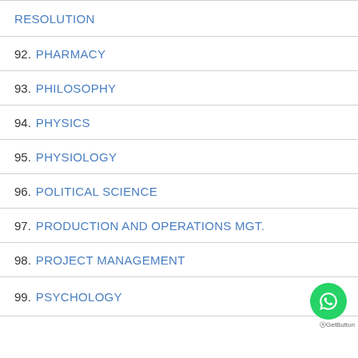RESOLUTION
92. PHARMACY
93. PHILOSOPHY
94. PHYSICS
95. PHYSIOLOGY
96. POLITICAL SCIENCE
97. PRODUCTION AND OPERATIONS MGT.
98. PROJECT MANAGEMENT
99. PSYCHOLOGY